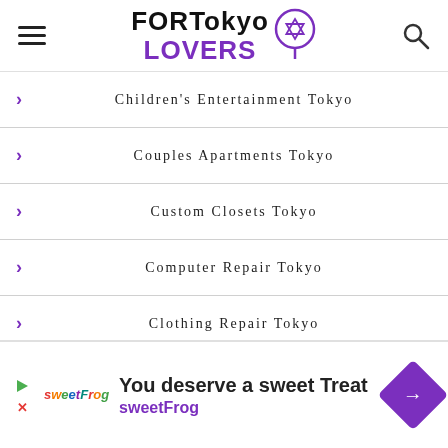FORTokyo LOVERS
Children's Entertainment Tokyo
Couples Apartments Tokyo
Custom Closets Tokyo
Computer Repair Tokyo
Clothing Repair Tokyo
Cemetery Arts Tokyo
[Figure (other): Advertisement banner: sweetFrog - You deserve a sweet Treat]
You deserve a sweet Treat - sweetFrog